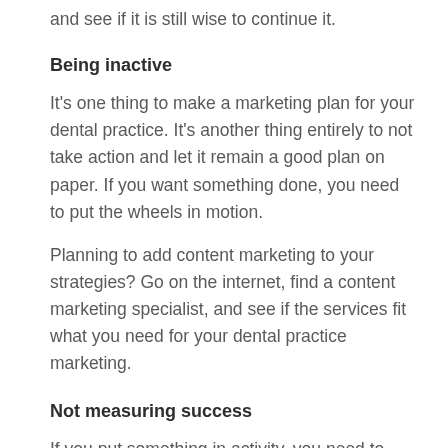and see if it is still wise to continue it.
Being inactive
It's one thing to make a marketing plan for your dental practice. It's another thing entirely to not take action and let it remain a good plan on paper. If you want something done, you need to put the wheels in motion.
Planning to add content marketing to your strategies? Go on the internet, find a content marketing specialist, and see if the services fit what you need for your dental practice marketing.
Not measuring success
If you put something in activity, you need to measure its success, right? But are you using the right tool? Perceptions alone will not cut it. In today's digital world, it is entirely possible to see how every